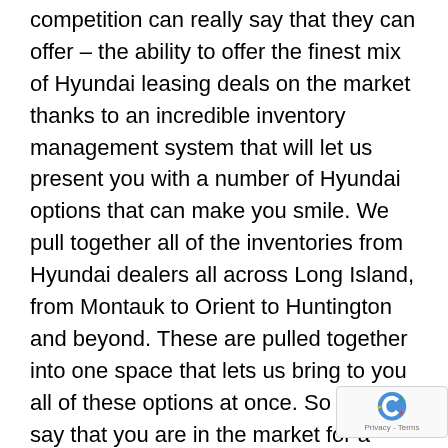competition can really say that they can offer – the ability to offer the finest mix of Hyundai leasing deals on the market thanks to an incredible inventory management system that will let us present you with a number of Hyundai options that can make you smile. We pull together all of the inventories from Hyundai dealers all across Long Island, from Montauk to Orient to Huntington and beyond. These are pulled together into one space that lets us bring to you all of these options at once. So let us say that you are in the market for a Hyundai leasing deal in the form of a Hyundai Azera. If you use our inventory management system you can pull up all of the Azeras that are on the lots of our Hyundai dealers that we partner with and use them to make a better hiring cycle.